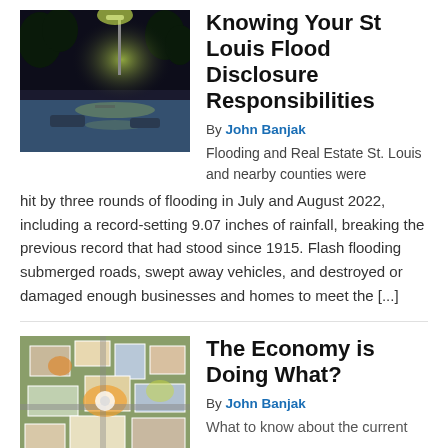[Figure (photo): Flooded road at night with streetlight illuminating water and submerged vehicles]
Knowing Your St Louis Flood Disclosure Responsibilities
By John Banjak
Flooding and Real Estate St. Louis and nearby counties were hit by three rounds of flooding in July and August 2022, including a record-setting 9.07 inches of rainfall, breaking the previous record that had stood since 1915. Flash flooding submerged roads, swept away vehicles, and destroyed or damaged enough businesses and homes to meet the [...]
[Figure (photo): Aerial view of buildings and roads with autumn foliage]
The Economy is Doing What?
By John Banjak
What to know about the current